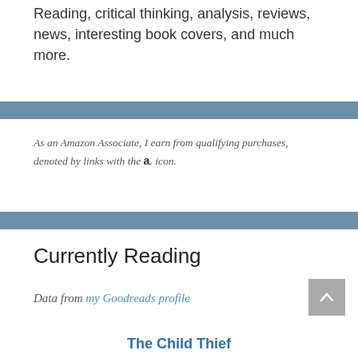Reading, critical thinking, analysis, reviews, news, interesting book covers, and much more.
As an Amazon Associate, I earn from qualifying purchases, denoted by links with the a. icon.
Currently Reading
Data from my Goodreads profile
The Child Thief